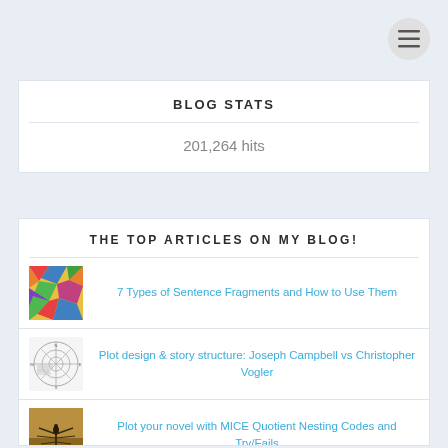[Figure (other): Hamburger menu button (three lines) in a circular grey button]
BLOG STATS
201,264 hits
THE TOP ARTICLES ON MY BLOG!
7 Types of Sentence Fragments and How to Use Them
Plot design & story structure: Joseph Campbell vs Christopher Vogler
Plot your novel with MICE Quotient Nesting Codes and Try/Fails